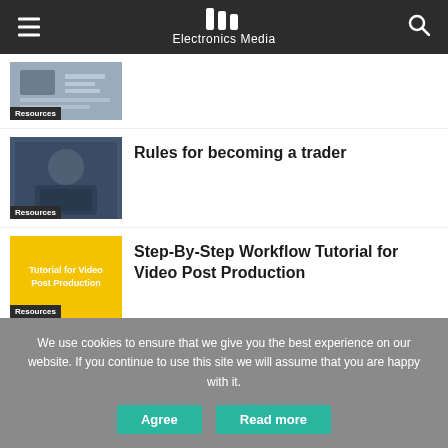Electronics Media
[Figure (photo): Article thumbnail with Resources badge]
[Figure (photo): Person using laptop - Rules for becoming a trader article thumbnail with Resources badge]
Rules for becoming a trader
[Figure (illustration): Yellow card thumbnail with text Tutorial for Video Post Production and Resources badge]
Step-By-Step Workflow Tutorial for Video Post Production
We use cookies to ensure that we give you the best experience on our website. If you continue to use this site we will assume that you are happy with it.